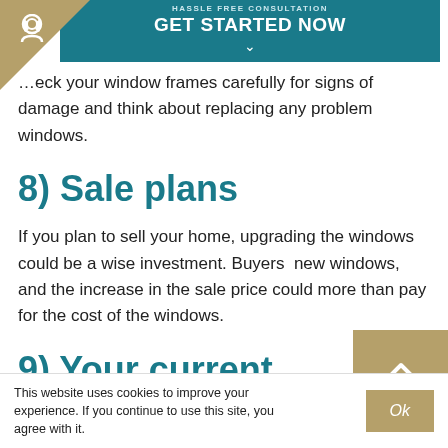HASSLE FREE CONSULTATION GET STARTED NOW
...eck your window frames carefully for signs of damage and think about replacing any problem windows.
8) Sale plans
If you plan to sell your home, upgrading the windows could be a wise investment. Buyers new windows, and the increase in the sale price could more than pay for the cost of the windows.
9) Your current
This website uses cookies to improve your experience. If you continue to use this site, you agree with it.